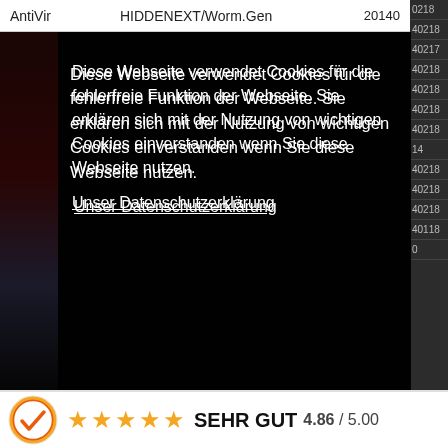|  |  |  |
| --- | --- | --- |
| AntiVir | HIDDENEXT/Worm.Gen | 20140218 |
Diese Webseite verwendet Cookies für die fehlerfreie Funktion der Webseite. Sie erklären sich mit der Nutzung von wichtigen Cookies einverstanden wenn Sie diese Webseite nutzen.
Unser Datenschutzerklärung
OK verstanden!
|  |  |  |
| --- | --- | --- |
| K7GW | Trojan ( 7000000c1 ) | 20140218 |
| Malwarebytes | Trojan.Crypt.NKN | 20140218 |
| Qihoo-360 | HEUR/Malware.QVM03.Gen | 20140118 |
| Rising | PE:Attention.APT- | 20140 |
SEHR GUT 4.86 / 5.00